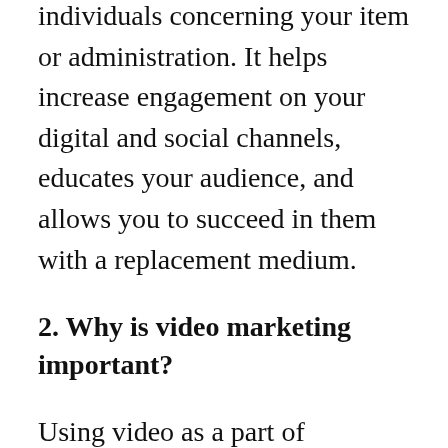individuals concerning your item or administration. It helps increase engagement on your digital and social channels, educates your audience, and allows you to succeed in them with a replacement medium.
2. Why is video marketing important?
Using video as a part of marketing is gaining tons of traction across businesses of all sizes, including entrepreneurs and little businesses.
Renderforest Survey found that recordings